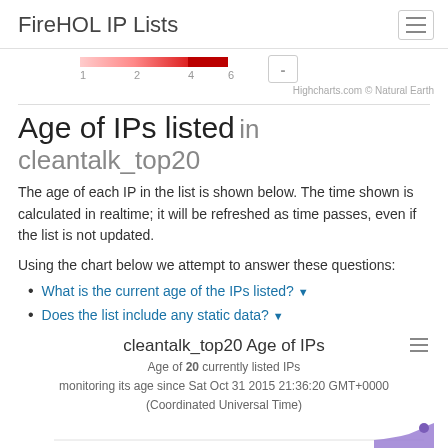FireHOL IP Lists
[Figure (infographic): Color legend bar showing gradient from light red/pink (1) to dark red (6), with a zoom/minus button on the right. Attribution: Highcharts.com © Natural Earth]
Age of IPs listed in cleantalk_top20
The age of each IP in the list is shown below. The time shown is calculated in realtime; it will be refreshed as time passes, even if the list is not updated.
Using the chart below we attempt to answer these questions:
What is the current age of the IPs listed?
Does the list include any static data?
cleantalk_top20 Age of IPs
Age of 20 currently listed IPs
monitoring its age since Sat Oct 31 2015 21:36:20 GMT+0000
(Coordinated Universal Time)
[Figure (continuous-plot): Partial line/area chart showing 100% on y-axis, with a purple/violet area chart starting to appear at bottom right. Chart is cut off at page bottom.]